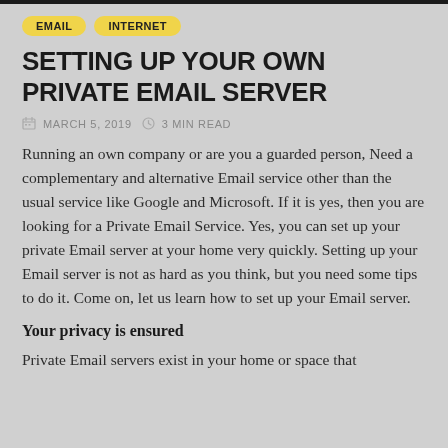EMAIL   INTERNET
SETTING UP YOUR OWN PRIVATE EMAIL SERVER
MARCH 5, 2019   3 MIN READ
Running an own company or are you a guarded person, Need a complementary and alternative Email service other than the usual service like Google and Microsoft. If it is yes, then you are looking for a Private Email Service. Yes, you can set up your private Email server at your home very quickly. Setting up your Email server is not as hard as you think, but you need some tips to do it. Come on, let us learn how to set up your Email server.
Your privacy is ensured
Private Email servers exist in your home or space that